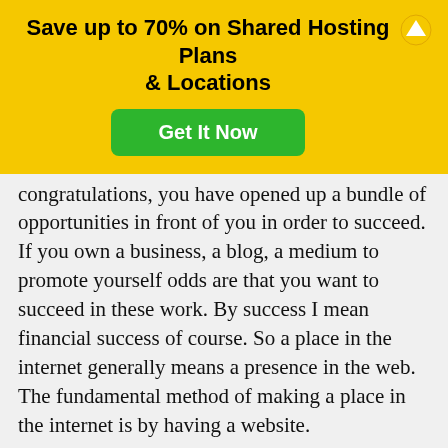[Figure (screenshot): Yellow advertisement banner for web hosting with 'Save up to 70% on Shared Hosting Plans & Locations' heading, green 'Get It Now' button, and an up-arrow icon]
congratulations, you have opened up a bundle of opportunities in front of you in order to succeed. If you own a business, a blog, a medium to promote yourself odds are that you want to succeed in these work. By success I mean financial success of course. So a place in the internet generally means a presence in the web. The fundamental method of making a place in the internet is by having a website.
[Figure (screenshot): YouTube video screenshot showing 'How to use GS Logo slider Wordpre...' with a person's avatar icon, WordPress admin navigation bar, and a YouTube play button at bottom]